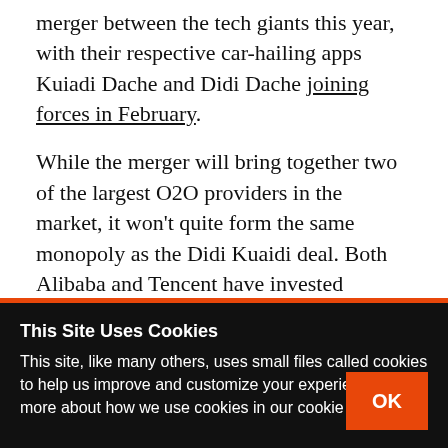merger between the tech giants this year, with their respective car-hailing apps Kuiadi Dache and Didi Dache joining forces in February.
While the merger will bring together two of the largest O2O providers in the market, it won't quite form the same monopoly as the Didi Kuaidi deal. Both Alibaba and Tencent have invested separately in other companies that are still competing successfully in the market, including
This Site Uses Cookies
This site, like many others, uses small files called cookies to help us improve and customize your experience. Learn more about how we use cookies in our cookie policy.